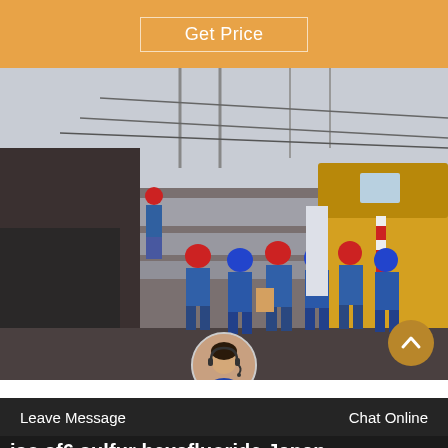Get Price
[Figure (photo): Workers in blue uniforms and red/blue hard hats standing at an industrial electrical substation site with large pipes, power lines and a yellow service truck.]
Leave Message
Chat Online
iso sf6 sulfur hexafluoride Japan